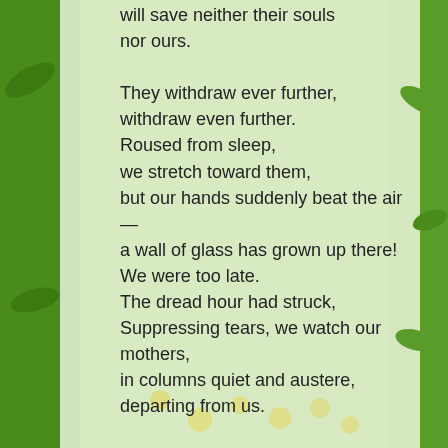will save neither their souls
nor ours.

They withdraw ever further,
withdraw even further.
Rousd from sleep,
we stretch toward them,
but our hands suddenly beat the air —
a wall of glass has grown up there!
We were too late.
The dread hour had struck,
Suppressing tears, we watch our mothers,
in columns quiet and austere,
departing from us.

I've known women who say that were determined
to be a different kind of mother to their children
than their own mother was to them, and then